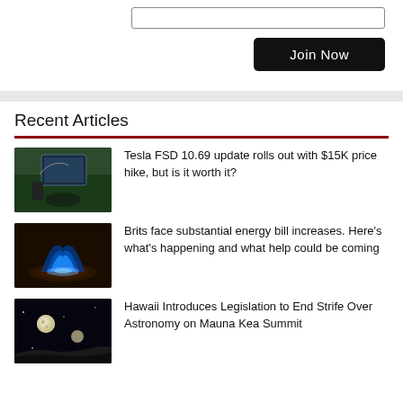[Figure (screenshot): Input text box (empty)]
[Figure (screenshot): Join Now black button]
Recent Articles
Tesla FSD 10.69 update rolls out with $15K price hike, but is it worth it?
Brits face substantial energy bill increases. Here’s what’s happening and what help could be coming
Hawaii Introduces Legislation to End Strife Over Astronomy on Mauna Kea Summit